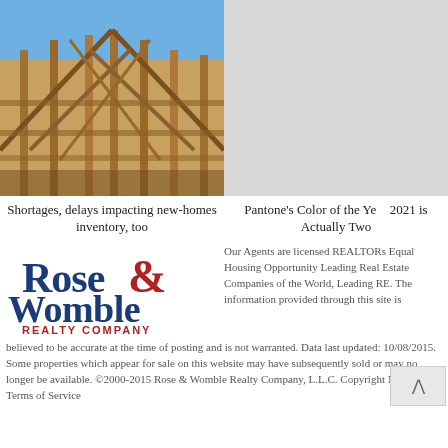[Figure (photo): Construction photo showing wooden framing structure of a new home against a blue sky]
Shortages, delays impacting new-homes inventory, too
[Figure (photo): Light gray placeholder image area]
Pantone's Color of the Year 2021 is Actually Two
[Figure (logo): Rose & Womble Realty Company logo with red ampersand and blue lettering]
Our Agents are licensed REALTORs Equal Housing Opportunity Leading Real Estate Companies of the World, Leading RE. The information provided through this site is believed to be accurate at the time of posting and is not warranted. Data last updated: 10/08/2015. Some properties which appear for sale on this website may have subsequently sold or may no longer be available. ©2000-2015 Rose & Womble Realty Company, L.L.C. Copyright Notice and Terms of Service